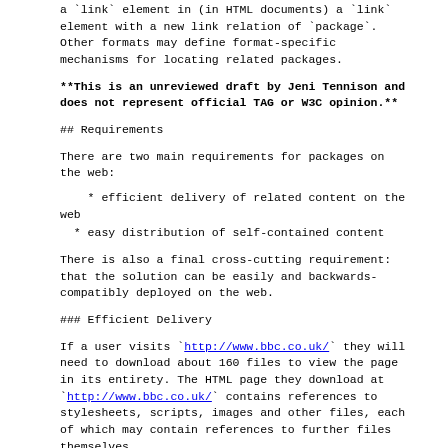a `link` element in (in HTML documents) a `link` element with a new link relation of `package`. Other formats may define format-specific mechanisms for locating related packages.
**This is an unreviewed draft by Jeni Tennison and does not represent official TAG or W3C opinion.**
## Requirements
There are two main requirements for packages on the web:
* efficient delivery of related content on the web
* easy distribution of self-contained content
There is also a final cross-cutting requirement: that the solution can be easily and backwards-compatibly deployed on the web.
### Efficient Delivery
If a user visits `http://www.bbc.co.uk/` they will need to download about 160 files to view the page in its entirety. The HTML page they download at `http://www.bbc.co.uk/` contains references to stylesheets, scripts, images and other files, each of which may contain references to further files themselves.